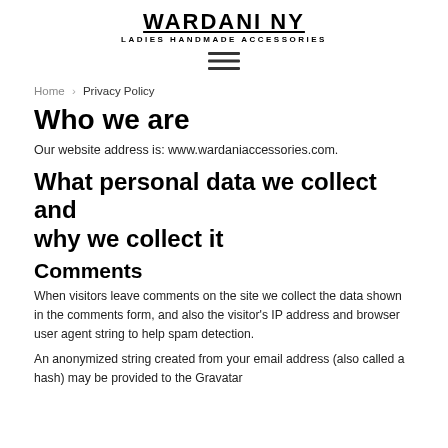WARDANI NY
LADIES HANDMADE ACCESSORIES
[Figure (other): Hamburger menu icon (three horizontal lines)]
Home › Privacy Policy
Who we are
Our website address is: www.wardaniaccessories.com.
What personal data we collect and why we collect it
Comments
When visitors leave comments on the site we collect the data shown in the comments form, and also the visitor's IP address and browser user agent string to help spam detection.
An anonymized string created from your email address (also called a hash) may be provided to the Gravatar